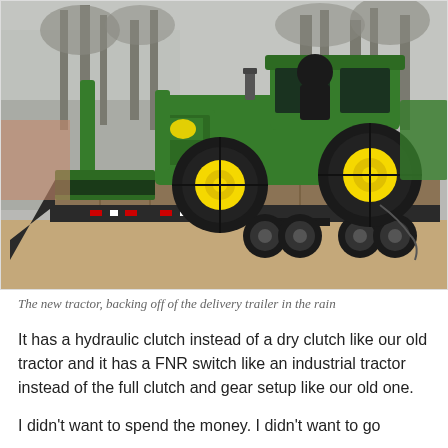[Figure (photo): A green John Deere tractor with a front loader and yellow rims, loaded on a flatbed delivery trailer. The scene is outdoors with bare trees in the background on a rainy, overcast day.]
The new tractor, backing off of the delivery trailer in the rain
It has a hydraulic clutch instead of a dry clutch like our old tractor and it has a FNR switch like an industrial tractor instead of the full clutch and gear setup like our old one.
I didn't want to spend the money. I didn't want to go